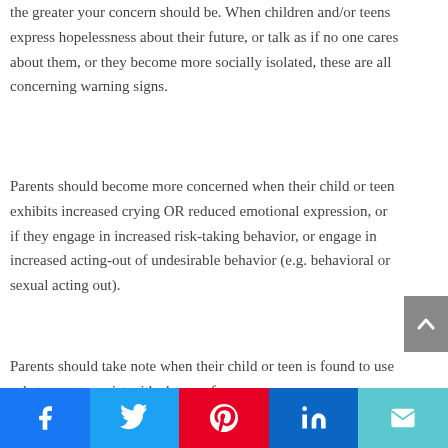the greater your concern should be. When children and/or teens express hopelessness about their future, or talk as if no one cares about them, or they become more socially isolated, these are all concerning warning signs.
Parents should become more concerned when their child or teen exhibits increased crying OR reduced emotional expression, or if they engage in increased risk-taking behavior, or engage in increased acting-out of undesirable behavior (e.g. behavioral or sexual acting out).
Parents should take note when their child or teen is found to use substances to assist with sleep or for
[Figure (infographic): Social sharing buttons bar at bottom: Facebook (blue), Twitter (light blue), Pinterest (red), LinkedIn (dark blue), Email (teal)]